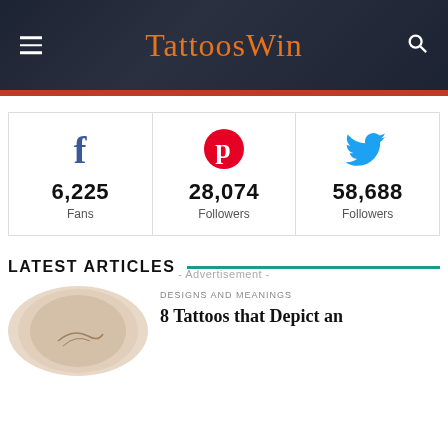TattoosWin
6,225 Fans
28,074 Followers
58,688 Followers
- Advertisement -
LATEST ARTICLES
DESIGNS AND MEANINGS
8 Tattoos that Depict an